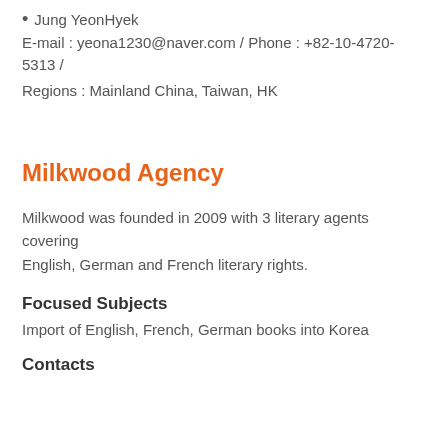Jung YeonHyek
E-mail : yeona1230@naver.com / Phone : +82-10-4720-5313 /
Regions : Mainland China, Taiwan, HK
Milkwood Agency
Milkwood was founded in 2009 with 3 literary agents covering English, German and French literary rights.
Focused Subjects
Import of English, French, German books into Korea
Contacts